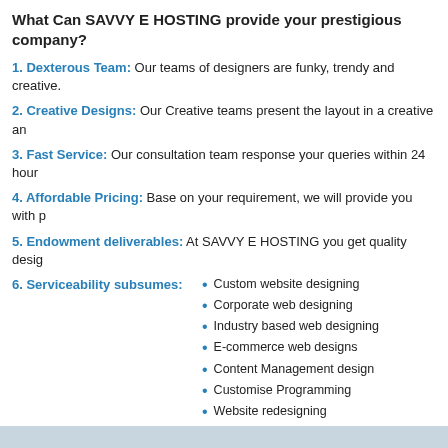What Can SAVVY E HOSTING provide your prestigious company?
1. Dexterous Team: Our teams of designers are funky, trendy and creative.
2. Creative Designs: Our Creative teams present the layout in a creative and
3. Fast Service: Our consultation team response your queries within 24 hours
4. Affordable Pricing: Base on your requirement, we will provide you with p
5. Endowment deliverables: At SAVVY E HOSTING you get quality design
6. Serviceability subsumes:
Custom website designing
Corporate web designing
Industry based web designing
E-commerce web designs
Content Management design
Customise Programming
Website redesigning
Our entire design are done in web 2.0. All websites are W3C Validated. Apart from SEO guidelines and it's user friendly.